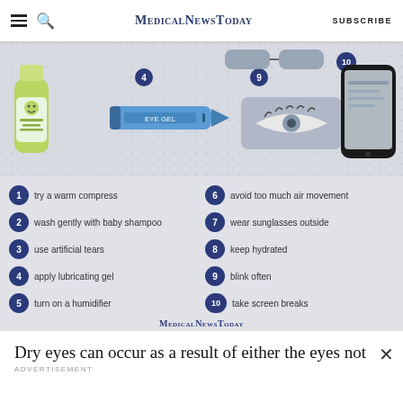MedicalNewsToday SUBSCRIBE
[Figure (infographic): Infographic showing 10 tips for dry eyes with illustrated icons: baby shampoo bottle (1), eye gel tube (4), eye/eyelid icon (9), smartphone (10), numbered circles 1-10 with tips listed in two columns]
1 try a warm compress
2 wash gently with baby shampoo
3 use artificial tears
4 apply lubricating gel
5 turn on a humidifier
6 avoid too much air movement
7 wear sunglasses outside
8 keep hydrated
9 blink often
10 take screen breaks
Dry eyes can occur as a result of either the eyes not
ADVERTISEMENT